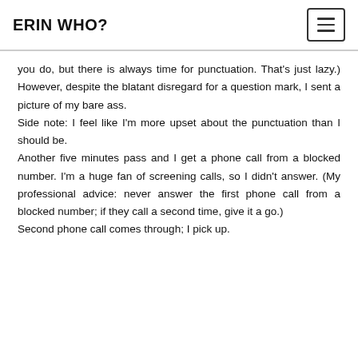ERIN WHO?
you do, but there is always time for punctuation. That's just lazy.) However, despite the blatant disregard for a question mark, I sent a picture of my bare ass.
Side note: I feel like I'm more upset about the punctuation than I should be.
Another five minutes pass and I get a phone call from a blocked number. I'm a huge fan of screening calls, so I didn't answer. (My professional advice: never answer the first phone call from a blocked number; if they call a second time, give it a go.)
Second phone call comes through; I pick up.